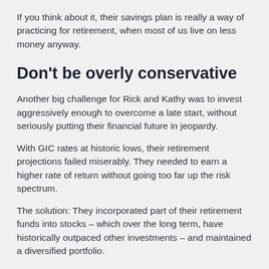If you think about it, their savings plan is really a way of practicing for retirement, when most of us live on less money anyway.
Don't be overly conservative
Another big challenge for Rick and Kathy was to invest aggressively enough to overcome a late start, without seriously putting their financial future in jeopardy.
With GIC rates at historic lows, their retirement projections failed miserably. They needed to earn a higher rate of return without going too far up the risk spectrum.
The solution: They incorporated part of their retirement funds into stocks – which over the long term, have historically outpaced other investments – and maintained a diversified portfolio.